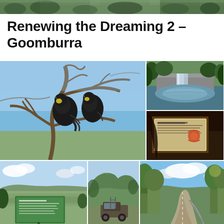[Figure (photo): Narrow landscape banner photo at top of page showing trees and vegetation]
Renewing the Dreaming 2 – Goomburra
[Figure (photo): Large photo of two black cockatoos perched on bare tree branches against a blue sky]
[Figure (photo): Small photo of a waterfall and pool surrounded by rocky cliffs and green trees]
[Figure (photo): Small photo of an interpretive sign board with Aboriginal artwork visible]
[Figure (photo): Bottom-left photo showing a panoramic view of a valley with a green information sign in foreground]
[Figure (photo): Bottom-middle photo showing a mountain view with a vehicle or equipment in the foreground]
[Figure (photo): Bottom-right photo showing a road through eucalyptus forest with blue sky and clouds]